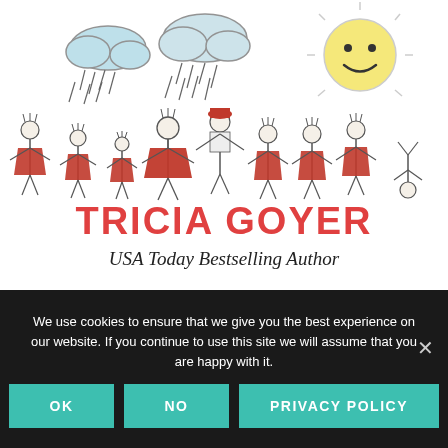[Figure (illustration): Hand-drawn illustration: two rain clouds on the left with rain drops, a smiling sun on the right, and a row of stick figure children holding hands, most wearing red dresses, one wearing a red cap, and one child hanging upside down at the far right.]
TRICIA GOYER
USA Today Bestselling Author
We use cookies to ensure that we give you the best experience on our website. If you continue to use this site we will assume that you are happy with it.